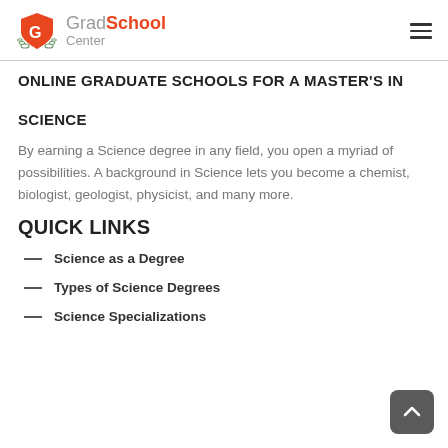GradSchool Center
ONLINE GRADUATE SCHOOLS FOR A MASTER'S IN SCIENCE
By earning a Science degree in any field, you open a myriad of possibilities. A background in Science lets you become a chemist, biologist, geologist, physicist, and many more.
QUICK LINKS
Science as a Degree
Types of Science Degrees
Science Specializations